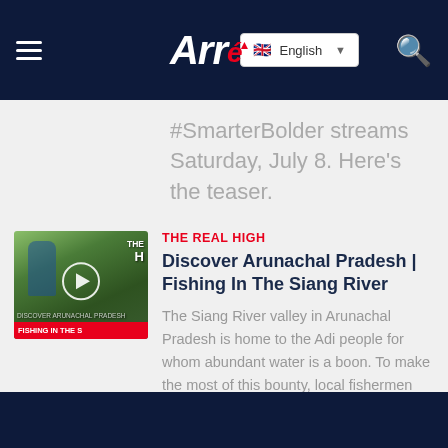Arré — English
#SmarterBolder streams Saturday, July 8. Here's the teaser.
[Figure (screenshot): Video thumbnail for 'Fishing In The Siang River' showing a man near a river with trees in background, play button overlay, and red banner text 'FISHING IN THE S']
THE REAL HIGH
Discover Arunachal Pradesh | Fishing In The Siang River
The Siang River valley in Arunachal Pradesh is home to the Adi people for whom abundant water is a boon. To make the most of this bounty, local fishermen have adopted a unique technique to catch fish.